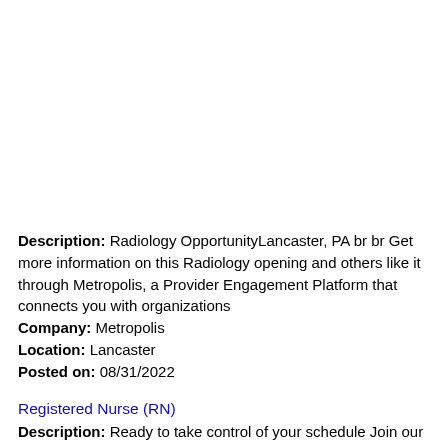Description: Radiology OpportunityLancaster, PA br br Get more information on this Radiology opening and others like it through Metropolis, a Provider Engagement Platform that connects you with organizations
Company: Metropolis
Location: Lancaster
Posted on: 08/31/2022
Registered Nurse (RN)
Description: Ready to take control of your schedule Join our team of healthcare heroes COVID-19 Considerations: -Clinicians must be vaccinated against Covid-19. Why IntelyCare At IntelyCare, we're empowering healthcare (more...)
Company: IntelyCare